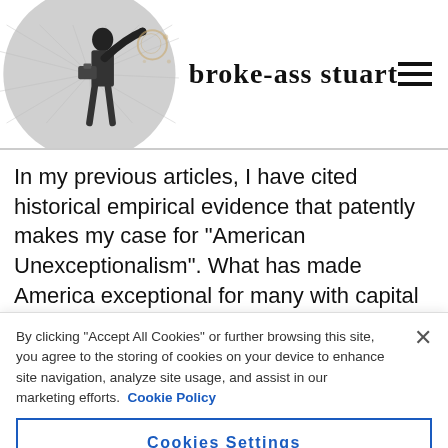broke-ass stuart
In my previous articles, I have cited historical empirical evidence that patently makes my case for “American Unexceptionalism”. What has made America exceptional for many with capital and entrepreneurial skill is the
By clicking “Accept All Cookies” or further browsing this site, you agree to the storing of cookies on your device to enhance site navigation, analyze site usage, and assist in our marketing efforts.  Cookie Policy
Cookies Settings
Reject All
Accept All Cookies